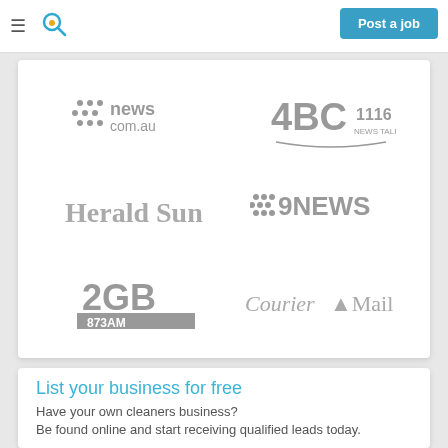Post a job
[Figure (logo): news.com.au logo]
[Figure (logo): 4BC 1116 News Talk logo]
[Figure (logo): Herald Sun logo]
[Figure (logo): 9NEWS logo]
[Figure (logo): 2GB 873AM logo]
[Figure (logo): Courier Mail logo]
List your business for free
Have your own cleaners business?
Be found online and start receiving qualified leads today.